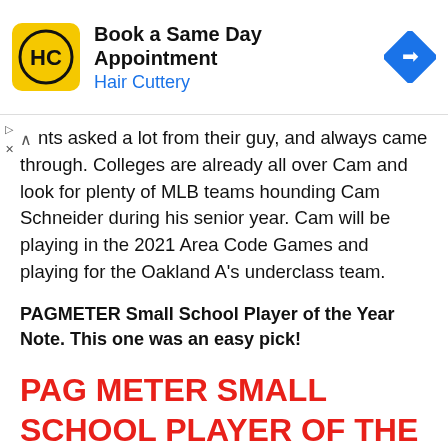[Figure (other): Advertisement banner for Hair Cuttery: logo (HC in yellow square), text 'Book a Same Day Appointment / Hair Cuttery', and a blue diamond navigation arrow icon on the right.]
nts asked a lot from their guy, and always came through. Colleges are already all over Cam and look for plenty of MLB teams hounding Cam Schneider during his senior year. Cam will be playing in the 2021 Area Code Games and playing for the Oakland A's underclass team.
PAGMETER Small School Player of the Year Note. This one was an easy pick!
PAG METER SMALL SCHOOL PLAYER OF THE YEAR